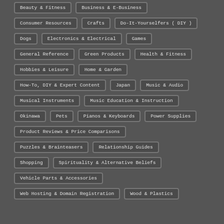Beauty & Fitness
Business & E-Business
Consumer Resources
Crafts
Do-It-Yourselfers ( DIY )
Dogs
Electronics & Electrical
Games
General Reference
Green Products
Health & Fitness
Hobbies & Leisure
Home & Garden
How-To, DIY & Expert Content
Japan
Music & Audio
Musical Instruments
Music Education & Instruction
Okinawa
Pets
Pianos & Keyboards
Power Supplies
Product Reviews & Price Comparisons
Puzzles & Brainteasers
Relationship Guides
Shopping
Spirituality & Alternative Beliefs
Vehicle Parts & Accessories
Web Hosting & Domain Registration
Wood & Plastics